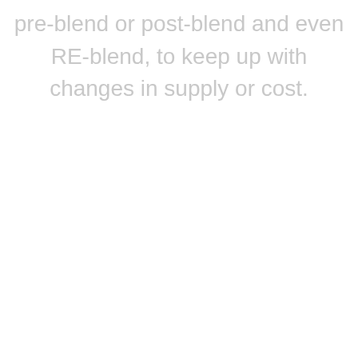pre-blend or post-blend and even RE-blend, to keep up with changes in supply or cost.